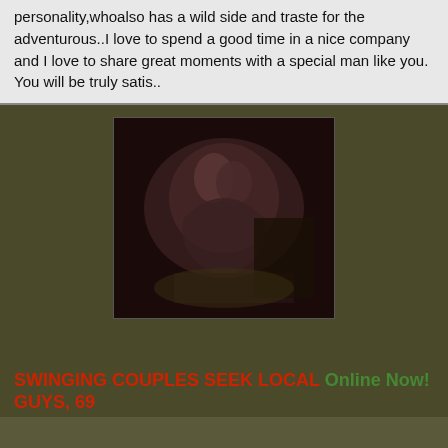personality,whoalso has a wild side and traste for the adventurous..I love to spend a good time in a nice company and I love to share great moments with a special man like you. You will be truly satis..
[Figure (photo): Dark photograph of figures on a bed]
SWINGING COUPLES SEEK LOCAL Online Now! GUYS, 69